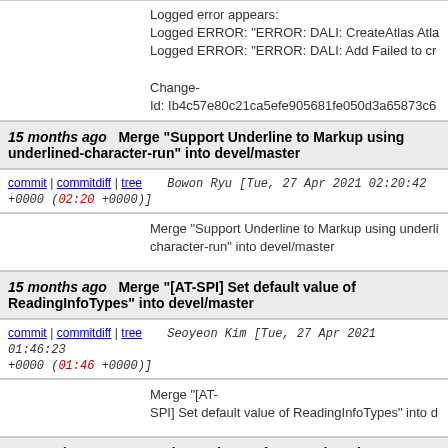Logged error appears:
Logged ERROR: "ERROR: DALI: CreateAtlas Atla
Logged ERROR: "ERROR: DALI: Add Failed to cr

Change-
Id: Ib4c57e80c21ca5efe905681fe050d3a65873c6
15 months ago   Merge "Support Underline to Markup using underlined-character-run" into devel/master
commit | commitdiff | tree   Bowon Ryu [Tue, 27 Apr 2021 02:20:42 +0000 (02:20 +0000)]
Merge "Support Underline to Markup using underlined-character-run" into devel/master
15 months ago   Merge "[AT-SPI] Set default value of ReadingInfoTypes" into devel/master
commit | commitdiff | tree   Seoyeon Kim [Tue, 27 Apr 2021 01:46:23 +0000 (01:46 +0000)]
Merge "[AT-SPI] Set default value of ReadingInfoTypes" into devel/master
15 months ago   Merge "(Vector) Drop frames when the animation is delayed" into devel/master